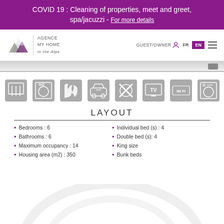COVID 19 : Cleaning of properties, meet and greet, spa/jacuzzi - For more details
[Figure (logo): Agence My Home in the Alps logo with mountain graphic and navigation bar including GUEST/OWNER, FR, EN language options and hamburger menu]
[Figure (infographic): Row of 8 grey amenity icons: dining/cutlery, dishwasher, fireplace, parking/car, activities/skiing, TV, WiFi, washing machine]
LAYOUT
Bedrooms : 6
Bathrooms : 6
Maximum occupancy : 14
Housing area (m2) : 350
Individual bed (s) : 4
Double bed (s): 4
King size
Bunk beds